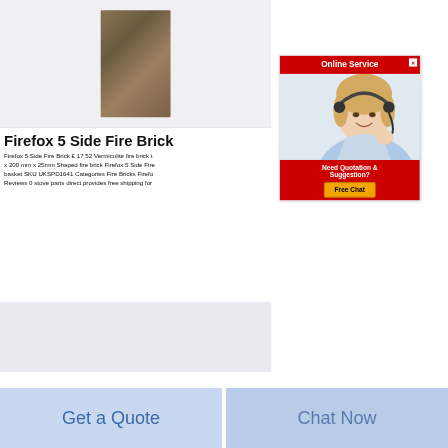[Figure (photo): Product photo of a rectangular brown/tan fire brick (vermiculite) shown vertically on a light grey/white background. The brick has a mottled brownish-grey texture.]
[Figure (screenshot): Advertisement panel with red header 'Online Service', photo of a blonde woman wearing a headset (customer service agent), and red bottom section with text 'Need Quotation & Suggestion?' and a yellow 'Free Chat' button. Close X button in top right corner.]
Firefox 5 Side Fire Brick
Firefox 5 Side Fire Brick £ 17 52 Vermiculite fire brick t x 200 mm x 25mm Shaped fire brick Firefox 5 Side Fire basket SKU UKSPD1641 Categories Fire Bricks Firefo Reviews 0 stove parts direct provides free shipping for
[Figure (photo): Bottom product image strip showing a Firefox logo (flame and globe icon), a white/grey egg-shaped object, and a pile of grey powder/cement on a light blue-grey background.]
Get a Quote
Chat Now